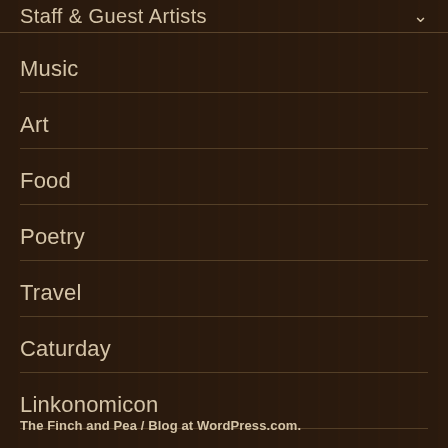Staff & Guest Artists
Music
Art
Food
Poetry
Travel
Caturday
Linkonomicon
The Finch and Pea  /  Blog at WordPress.com.